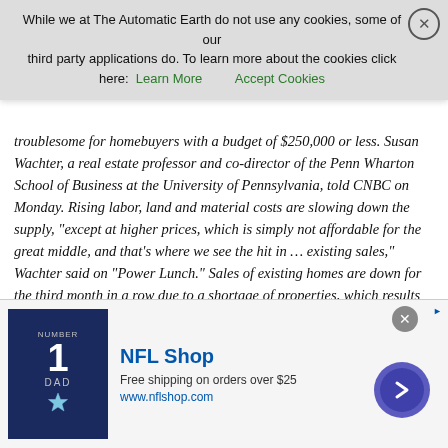The nationwide housing shortage continues but is especially troublesome for homebuyers with a budget of $250,000 or less. Susan Wachter, a real estate professor and co-director of the Penn Wharton School of Business at the University of Pennsylvania, told CNBC on Monday. Rising labor, land and material costs are slowing down the supply, "except at higher prices, which is simply not affordable for the great middle, and that's where we see the hit in … existing sales," Wachter said on "Power Lunch." Sales of existing homes are down for the third month in a row due to a shortage of properties, which results in higher prices and pushes some potential buyers out of the market.
Existing home sales fell 0.6% in June, or 2.2% from June 2017. And as prices for new home construction increase, construction in general is on the decline. Housing starts, or the number of new residential housing projects, decreased in June, plunging 12.3%. The loss represents the third month in a row of declines or a nine-month low. "That sets a price point for the existing sale market as well," Wachter said. And with inventory at historic lows and a lack of new
[Figure (other): Cookie consent banner overlay: 'While we at The Automatic Earth do not use any cookies, some of our third party applications do. To learn more about the cookies click here: [Learn More] [Accept Cookies]' with an X close button.]
[Figure (other): NFL Shop advertisement banner at the bottom of the page. Shows a Dallas Cowboys jersey with number 1 and 'DAD', NFL Shop logo, text 'Free shipping on orders over $25', 'www.nflshop.com', and a purple arrow button. Has a close (X) button.]